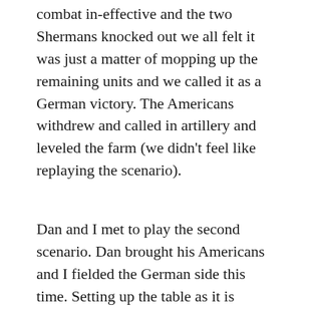combat in-effective and the two Shermans knocked out we all felt it was just a matter of mopping up the remaining units and we called it as a German victory. The Americans withdrew and called in artillery and leveled the farm (we didn't feel like replaying the scenario).
Dan and I met to play the second scenario. Dan brought his Americans and I fielded the German side this time. Setting up the table as it is pictured in the campaign book leaves a lot of open field for the Americans to charge across. I was looking forward to the MG42 getting a work out. We played out the Patrol Phase and